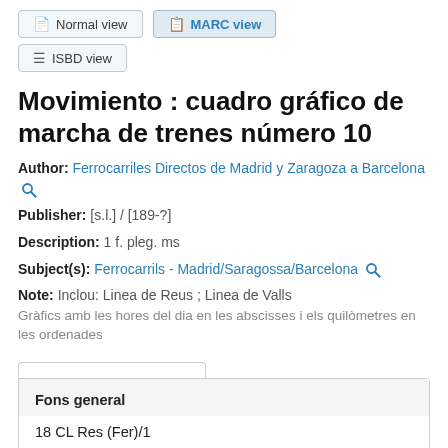[Figure (screenshot): Navigation buttons: Normal view, MARC view, ISBD view]
Movimiento : cuadro gráfico de marcha de trenes número 10
Author: Ferrocarriles Directos de Madrid y Zaragoza a Barcelona
Publisher: [s.l.] / [189-?]
Description: 1 f. pleg. ms
Subject(s): Ferrocarrils - Madrid/Saragossa/Barcelona
Note: Inclou: Linea de Reus ; Linea de Valls
Gràfics amb les hores del dia en les abscisses i els quilòmetres en les ordenades
| Fons general |  |
| --- | --- |
| 18 CL Res (Fer)/1 |  |